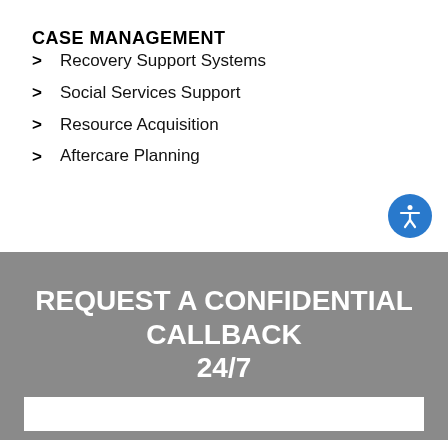CASE MANAGEMENT
Recovery Support Systems
Social Services Support
Resource Acquisition
Aftercare Planning
REQUEST A CONFIDENTIAL CALLBACK 24/7
First Name: *